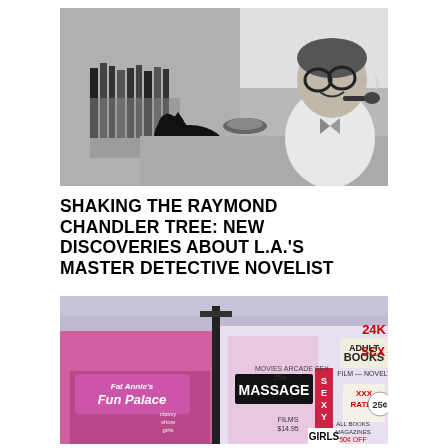[Figure (photo): Black and white photograph of a man with glasses smoking a pipe, sitting at a desk with books and a black cat nearby, smiling at the camera.]
SHAKING THE RAYMOND CHANDLER TREE: NEW DISCOVERIES ABOUT L.A.'S MASTER DETECTIVE NOVELIST
[Figure (photo): Color photograph of a seedy urban street scene with storefronts showing signs for 'Fun Palace', 'Massage', 'Adult Books', 'Film Novelties', 'Sex', 'XXX Rated', 'Sexy Girls', and other adult entertainment establishments. The buildings are pink/magenta colored.]